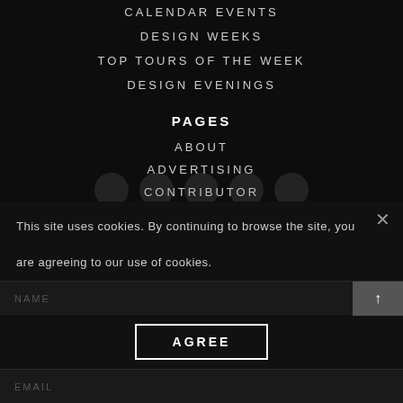CALENDAR EVENTS
DESIGN WEEKS
TOP TOURS OF THE WEEK
DESIGN EVENINGS
PAGES
ABOUT
ADVERTISING
CONTRIBUTOR
NEWSLETTER
CONTACT
POLICY PRIVACY
SITE MAP
This site uses cookies. By continuing to browse the site, you are agreeing to our use of cookies.
NAME
AGREE
EMAIL